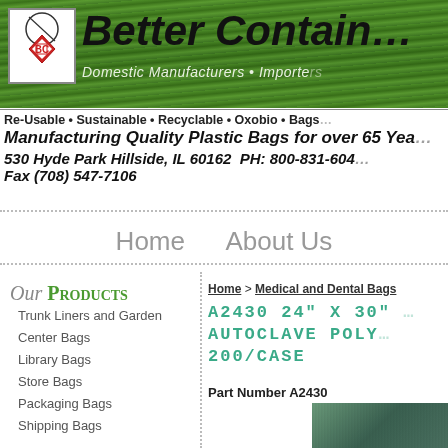[Figure (logo): Better Containers company header banner with logo, company name, green grass background, and tagline 'Domestic Manufacturers • Importers']
Re-Usable • Sustainable • Recyclable • Oxobio • Bags
Manufacturing Quality Plastic Bags for over 65 Yea...
530 Hyde Park Hillside, IL 60162  PH: 800-831-604... Fax (708) 547-7106
Home    About Us
Our Products
Trunk Liners and Garden
Center Bags
Library Bags
Store Bags
Packaging Bags
Shipping Bags
Home > Medical and Dental Bags
A2430 24" X 30"  AUTOCLAVE POLY  200/CASE
Part Number A2430
[Figure (photo): Product photo showing autoclave poly bags, partially visible on the right side]